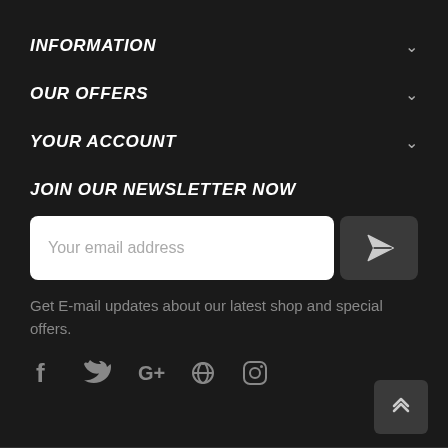INFORMATION
OUR OFFERS
YOUR ACCOUNT
JOIN OUR NEWSLETTER NOW
[Figure (other): Email input field with placeholder 'Your email address' and a send button with paper plane icon]
Get E-mail updates about our latest shop and special offers.
[Figure (other): Social media icons row: Facebook, Twitter, Google+, Pinterest, Instagram]
[Figure (other): Back to top button with double chevron up arrow in bottom right corner]